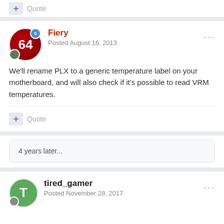+ Quote
Fiery
Posted August 16, 2013
We'll rename PLX to a generic temperature label on your motherboard, and will also check if it's possible to read VRM temperatures.
+ Quote
4 years later...
tired_gamer
Posted November 28, 2017